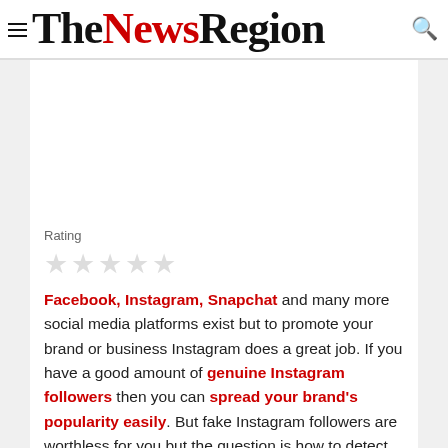TheNewsRegion
Rating
[Figure (other): Five empty/unfilled star rating icons in light gray]
Facebook, Instagram, Snapchat and many more social media platforms exist but to promote your brand or business Instagram does a great job. If you have a good amount of genuine Instagram followers then you can spread your brand’s popularity easily. But fake Instagram followers are worthless for you but the question is how to detect them?